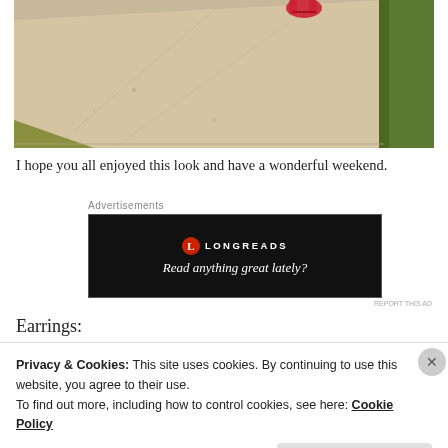[Figure (photo): Photo of a sidewalk with red high heels visible at the top, grass on the right and bottom-left edges]
I hope you all enjoyed this look and have a wonderful weekend.
Advertisements
[Figure (other): Longreads advertisement banner with logo and tagline 'Read anything great lately?']
Earrings:
Privacy & Cookies: This site uses cookies. By continuing to use this website, you agree to their use.
To find out more, including how to control cookies, see here: Cookie Policy